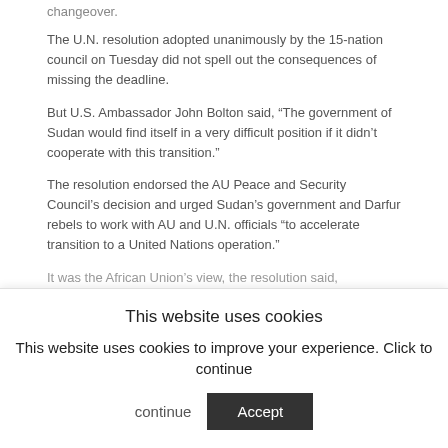changeover.
The U.N. resolution adopted unanimously by the 15-nation council on Tuesday did not spell out the consequences of missing the deadline.
But U.S. Ambassador John Bolton said, “The government of Sudan would find itself in a very difficult position if it didn’t cooperate with this transition.”
The resolution endorsed the AU Peace and Security Council’s decision and urged Sudan’s government and Darfur rebels to work with AU and U.N. officials “to accelerate transition to a United Nations operation.”
It was the African Union’s view, the resolution said, that “concrete steps should be taken to effect the
This website uses cookies
This website uses cookies to improve your experience. Click to continue
Accept